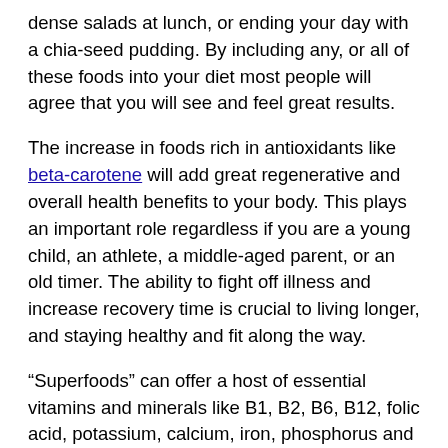dense salads at lunch, or ending your day with a chia-seed pudding. By including any, or all of these foods into your diet most people will agree that you will see and feel great results.
The increase in foods rich in antioxidants like beta-carotene will add great regenerative and overall health benefits to your body. This plays an important role regardless if you are a young child, an athlete, a middle-aged parent, or an old timer. The ability to fight off illness and increase recovery time is crucial to living longer, and staying healthy and fit along the way.
“Superfoods” can offer a host of essential vitamins and minerals like B1, B2, B6, B12, folic acid, potassium, calcium, iron, phosphorus and magnesium. There are ingredients that are otherwise quite uncommon in a typical diet today. On average most Americans are lacking in essential vitamins and minerals that help our body